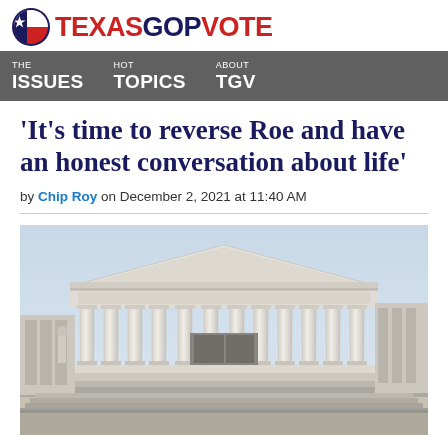TEXAS GOP VOTE
THE ISSUES  HOT TOPICS  ABOUT TGV
'It's time to reverse Roe and have an honest conversation about life'
by Chip Roy on December 2, 2021 at 11:40 AM
[Figure (photo): Photograph of the United States Supreme Court building facade, showing classical columns and pediment, taken from a low angle against a light sky.]